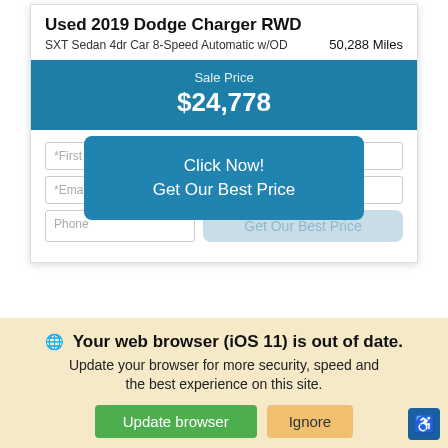Used 2019 Dodge Charger RWD
SXT Sedan 4dr Car 8-Speed Automatic w/OD   50,288 Miles
Sale Price $24,778
[Figure (screenshot): Form fields: First Name, Last Name, Email, Phone, and a 'Click Now! Get Our Best Price' button overlay]
We use cookies to optimize our website and our service.
Cookie Policy   Privacy Statement
Your web browser (iOS 11) is out of date. Update your browser for more security, speed and the best experience on this site.
Update browser   Ignore